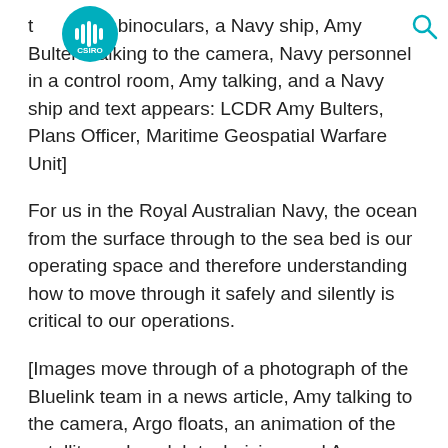CSIRO logo and search icon
through binoculars, a Navy ship, Amy Bulters talking to the camera, Navy personnel in a control room, Amy talking, and a Navy ship and text appears: LCDR Amy Bulters, Plans Officer, Maritime Geospatial Warfare Unit]
For us in the Royal Australian Navy, the ocean from the surface through to the sea bed is our operating space and therefore understanding how to move through it safely and silently is critical to our operations.
[Images move through of a photograph of the Bluelink team in a news article, Amy talking to the camera, Argo floats, an animation of the satellite cycle, a lab technician, and Amy talking to camera.]
So, when the CSIRO and the Bureau of Meteorology approached the Navy in 2003 with the idea of